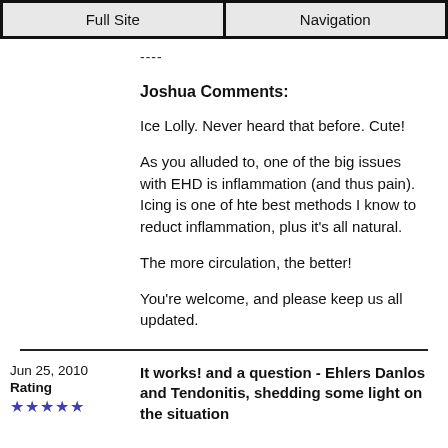Full Site | Navigation
----
Joshua Comments:
Ice Lolly. Never heard that before. Cute!
As you alluded to, one of the big issues with EHD is inflammation (and thus pain). Icing is one of hte best methods I know to reduct inflammation, plus it's all natural.
The more circulation, the better!
You're welcome, and please keep us all updated.
Jun 25, 2010
Rating
★★★★★
It works! and a question - Ehlers Danlos and Tendonitis, shedding some light on the situation